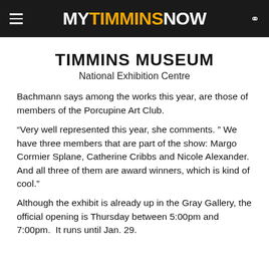MY TIMMINS NOW
TIMMINS MUSEUM
National Exhibition Centre
Bachmann says among the works this year, are those of members of the Porcupine Art Club.
“Very well represented this year, she comments. ” We have three members that are part of the show: Margo Cormier Splane, Catherine Cribbs and Nicole Alexander.  And all three of them are award winners, which is kind of cool.”
Although the exhibit is already up in the Gray Gallery, the official opening is Thursday between 5:00pm and 7:00pm.  It runs until Jan. 29.